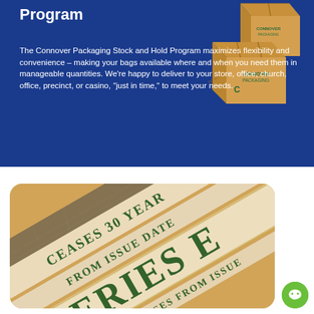Program
The Connover Packaging Stock and Hold Program maximizes flexibility and convenience – making your bags available where and when you need them in manageable quantities. We're happy to deliver to your store, office, church, office, precinct, or casino, "just in time," to meet your needs.
[Figure (photo): Cardboard boxes with Connover Packaging logo stacked on a blue background]
[Figure (photo): Close-up photo of Series E savings bonds showing text: CEASES 30 YEAR FROM ISSUE DATE, SERIES E, INTEREST CEASES FROM ISSUE]